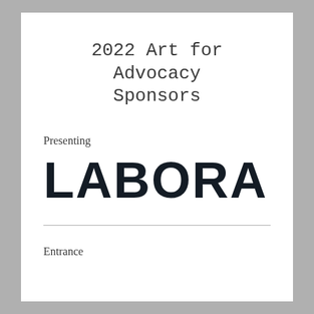2022 Art for Advocacy Sponsors
Presenting
[Figure (logo): LABORA company logo in large bold dark sans-serif text]
Entrance